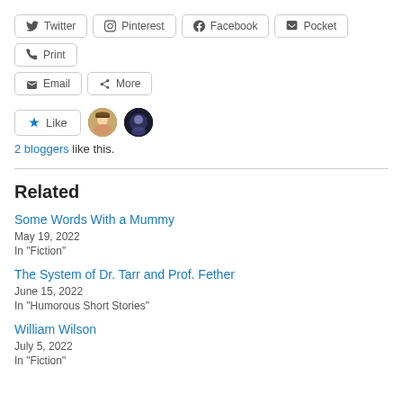Twitter
Pinterest
Facebook
Pocket
Print
Email
More
2 bloggers like this.
Related
Some Words With a Mummy
May 19, 2022
In "Fiction"
The System of Dr. Tarr and Prof. Fether
June 15, 2022
In "Humorous Short Stories"
William Wilson
July 5, 2022
In "Fiction"